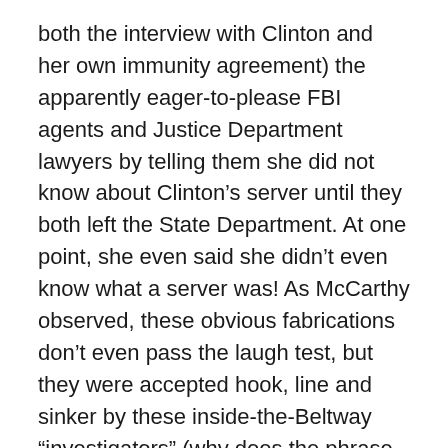both the interview with Clinton and her own immunity agreement) the apparently eager-to-please FBI agents and Justice Department lawyers by telling them she did not know about Clinton’s server until they both left the State Department. At one point, she even said she didn’t even know what a server was! As McCarthy observed, these obvious fabrications don’t even pass the laugh test, but they were accepted hook, line and sinker by these inside-the-Beltway “investigators” (why does the phrase “Keystone Kops” come to mind?) who were busy constructing their Potemkin village to help Clinton stagger to the White House.
Now, if all that pile of corruption stench is not overpowering enough, it has just been learned that side agreements were reached with Mills and another member